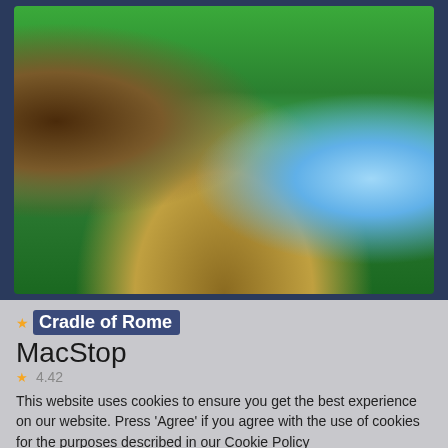[Figure (screenshot): Screenshot of the match-3 puzzle game 'Cradle of Rome' showing a grid of colorful gem tiles including red, green, silver, and gold pieces on a fantasy forest background with a waterfall and a Roman statue character]
Cradle of Rome
MacStop
4.42
This website uses cookies to ensure you get the best experience on our website. Press 'Agree' if you agree with the use of cookies for the purposes described in our Cookie Policy
Agree